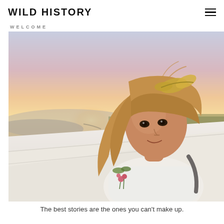WILD HISTORY
WELCOME
[Figure (photo): A young woman with long blonde hair wearing a golden leaf crown, smiling at the camera. She is sitting on white travertine terraces (likely Pamukkale, Turkey) with a pink flower in her hand, a backpack strap visible on her shoulder. The background shows a warm sunset sky in soft pinks and yellows, with rolling terrain visible in the distance.]
The best stories are the ones you can't make up.